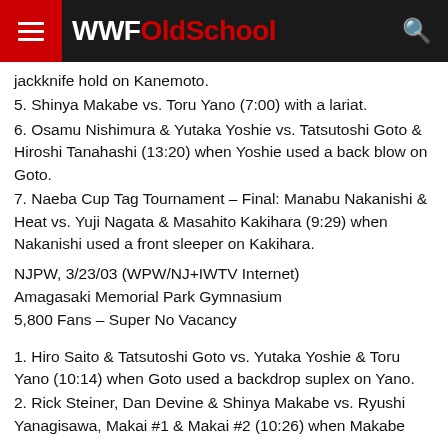WWFOldSchool
jackknife hold on Kanemoto.
5. Shinya Makabe vs. Toru Yano (7:00) with a lariat.
6. Osamu Nishimura & Yutaka Yoshie vs. Tatsutoshi Goto & Hiroshi Tanahashi (13:20) when Yoshie used a back blow on Goto.
7. Naeba Cup Tag Tournament – Final: Manabu Nakanishi & Heat vs. Yuji Nagata & Masahito Kakihara (9:29) when Nakanishi used a front sleeper on Kakihara.
NJPW, 3/23/03 (WPW/NJ+IWTV Internet)
Amagasaki Memorial Park Gymnasium
5,800 Fans – Super No Vacancy
1. Hiro Saito & Tatsutoshi Goto vs. Yutaka Yoshie & Toru Yano (10:14) when Goto used a backdrop suplex on Yano.
2. Rick Steiner, Dan Devine & Shinya Makabe vs. Ryushi Yanagisawa, Makai #1 & Makai #2 (10:26) when Makabe